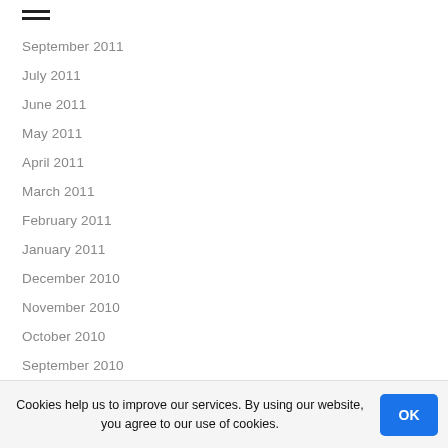≡
September 2011
July 2011
June 2011
May 2011
April 2011
March 2011
February 2011
January 2011
December 2010
November 2010
October 2010
September 2010
August 2010
July 2010
June 2010
May 2010
Cookies help us to improve our services. By using our website, you agree to our use of cookies.